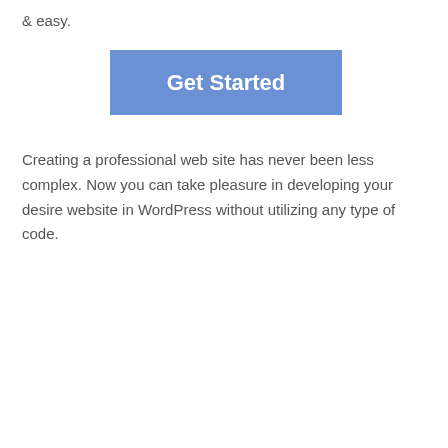& easy.
[Figure (other): Blue 'Get Started' button with white bold text on a blue background]
Creating a professional web site has never been less complex. Now you can take pleasure in developing your desire website in WordPress without utilizing any type of code.